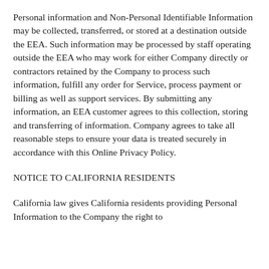Personal information and Non-Personal Identifiable Information may be collected, transferred, or stored at a destination outside the EEA. Such information may be processed by staff operating outside the EEA who may work for either Company directly or contractors retained by the Company to process such information, fulfill any order for Service, process payment or billing as well as support services. By submitting any information, an EEA customer agrees to this collection, storing and transferring of information. Company agrees to take all reasonable steps to ensure your data is treated securely in accordance with this Online Privacy Policy.
NOTICE TO CALIFORNIA RESIDENTS
California law gives California residents providing Personal Information to the Company the right to